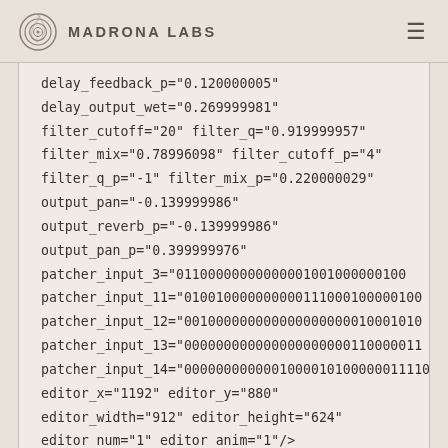Madrona Labs
delay_feedback_p="0.120000005"
delay_output_wet="0.269999981"
filter_cutoff="20" filter_q="0.919999957"
filter_mix="0.78996098" filter_cutoff_p="4"
filter_q_p="-1" filter_mix_p="0.220000029"
output_pan="-0.139999986"
output_reverb_p="-0.139999986"
output_pan_p="0.399999976"
patcher_input_3="011000000000000010010000001000..."
patcher_input_11="01001000000000011100010000010010..."
patcher_input_12="001000000000000000000010001010..."
patcher_input_13="00000000000000000000011000001100..."
patcher_input_14="000000000000100001010000001111000..."
editor_x="1192" editor_y="880"
editor_width="912" editor_height="624"
editor_num="1" editor_anim="1"/>